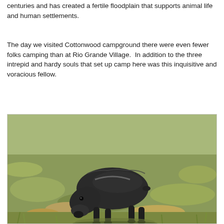centuries and has created a fertile floodplain that supports animal life and human settlements.
The day we visited Cottonwood campground there were even fewer folks camping than at Rio Grande Village.  In addition to the three intrepid and hardy souls that set up camp here was this inquisitive and voracious fellow.
[Figure (photo): A javelina (peccary) with dark coarse fur grazing with its head down on a grass field with dry brown patches, photographed in natural daylight.]